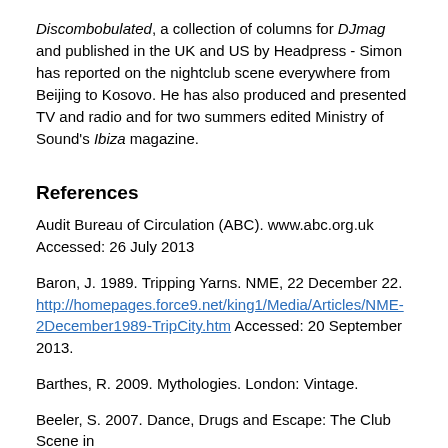Discombobulated, a collection of columns for DJmag and published in the UK and US by Headpress - Simon has reported on the nightclub scene everywhere from Beijing to Kosovo. He has also produced and presented TV and radio and for two summers edited Ministry of Sound's Ibiza magazine.
References
Audit Bureau of Circulation (ABC). www.abc.org.uk Accessed: 26 July 2013
Baron, J. 1989. Tripping Yarns. NME, 22 December 22. http://homepages.force9.net/king1/Media/Articles/NME-2December1989-TripCity.htm Accessed: 20 September 2013.
Barthes, R. 2009. Mythologies. London: Vintage.
Beeler, S. 2007. Dance, Drugs and Escape: The Club Scene in